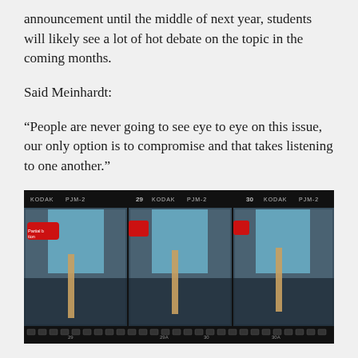announcement until the middle of next year, students will likely see a lot of hot debate on the topic in the coming months.
Said Meinhardt:
“People are never going to see eye to eye on this issue, our only option is to compromise and that takes listening to one another.”
[Figure (photo): Film strip contact sheet showing three frames of demonstrators at a protest, with a person wearing a red hat holding a sign. Frames labeled KODAK PJM-2, numbers 29 and 30 visible.]
Demonstrators from the Roe v. Wade era. Photo courtesy of Library of Congress.